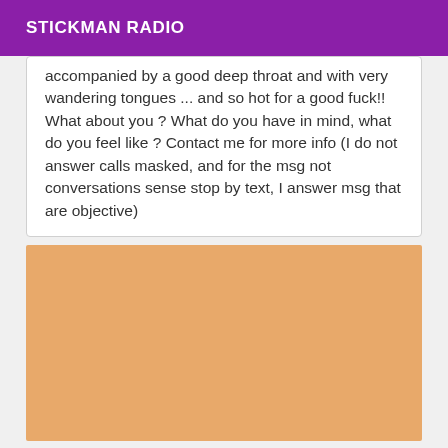STICKMAN RADIO
accompanied by a good deep throat and with very wandering tongues ... and so hot for a good fuck!! What about you ? What do you have in mind, what do you feel like ? Contact me for more info (I do not answer calls masked, and for the msg not conversations sense stop by text, I answer msg that are objective)
[Figure (photo): Large tan/skin-toned image block, content obscured or blurred]